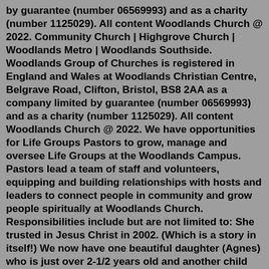by guarantee (number 06569993) and as a charity (number 1125029). All content Woodlands Church @ 2022. Community Church | Highgrove Church | Woodlands Metro | Woodlands Southside. Woodlands Group of Churches is registered in England and Wales at Woodlands Christian Centre, Belgrave Road, Clifton, Bristol, BS8 2AA as a company limited by guarantee (number 06569993) and as a charity (number 1125029). All content Woodlands Church @ 2022. We have opportunities for Life Groups Pastors to grow, manage and oversee Life Groups at the Woodlands Campus. Pastors lead a team of staff and volunteers, equipping and building relationships with hosts and leaders to connect people in community and grow people spiritually at Woodlands Church. Responsibilities include but are not limited to: She trusted in Jesus Christ in 2002. (Which is a story in itself!) We now have one beautiful daughter (Agnes) who is just over 2-1/2 years old and another child due in March of 2019. I have been called by Christ as the Associate Pastor of Woodlands Bible church after...